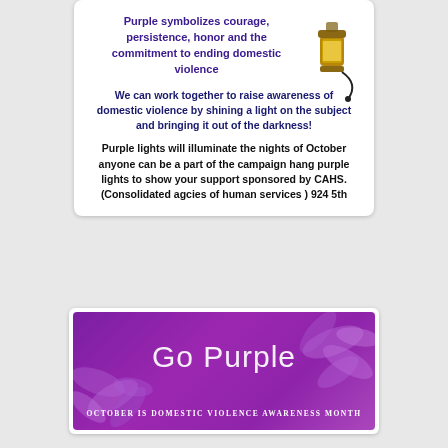Purple symbolizes courage, persistence, honor and the commitment to ending domestic violence
We can work together to raise awareness of domestic violence by shining a light on the subject and bringing it out of the darkness!
Purple lights will illuminate the nights of October anyone can be a part of the campaign hang purple lights to show your support sponsored by CAHS. (Consolidated agcies of human services ) 924 5th
[Figure (illustration): Go Purple banner with flowers background and text: Go Purple, October is Domestic Violence Awareness Month]
October is Domestic Violence Awareness Month